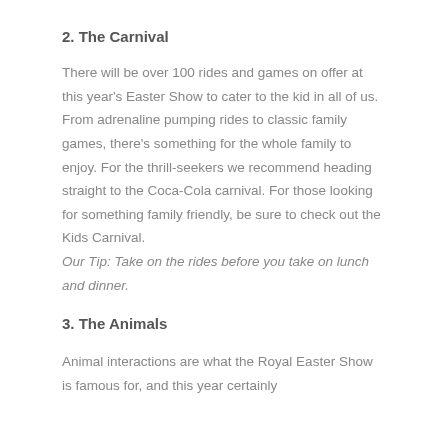2. The Carnival
There will be over 100 rides and games on offer at this year's Easter Show to cater to the kid in all of us. From adrenaline pumping rides to classic family games, there's something for the whole family to enjoy. For the thrill-seekers we recommend heading straight to the Coca-Cola carnival. For those looking for something family friendly, be sure to check out the Kids Carnival.
Our Tip: Take on the rides before you take on lunch and dinner.
3. The Animals
Animal interactions are what the Royal Easter Show is famous for, and this year certainly